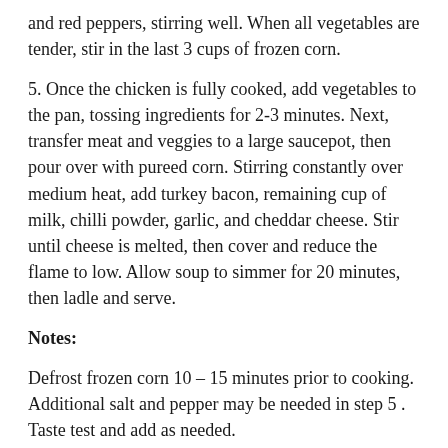and red peppers, stirring well. When all vegetables are tender, stir in the last 3 cups of frozen corn.
5. Once the chicken is fully cooked, add vegetables to the pan, tossing ingredients for 2–3 minutes. Next, transfer meat and veggies to a large saucepot, then pour over with pureed corn. Stirring constantly over medium heat, add turkey bacon, remaining cup of milk, chilli powder, garlic, and cheddar cheese. Stir until cheese is melted, then cover and reduce the flame to low. Allow soup to simmer for 20 minutes, then ladle and serve.
Notes:
Defrost frozen corn 10 – 15 minutes prior to cooking. Additional salt and pepper may be needed in step 5 . Taste test and add as needed.